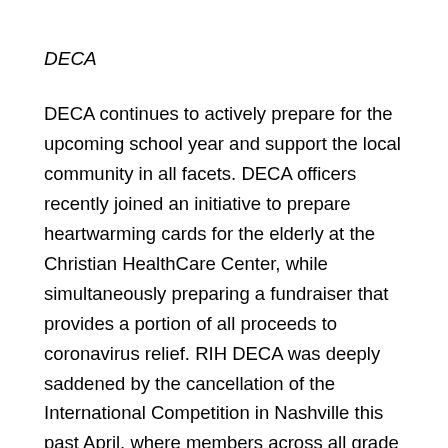DECA
DECA continues to actively prepare for the upcoming school year and support the local community in all facets. DECA officers recently joined an initiative to prepare heartwarming cards for the elderly at the Christian HealthCare Center, while simultaneously preparing a fundraiser that provides a portion of all proceeds to coronavirus relief. RIH DECA was deeply saddened by the cancellation of the International Competition in Nashville this past April, where members across all grade levels eagerly prepared to compete. DECA continues to host Zoom meetings with current officers, as well as conduct interviews to select